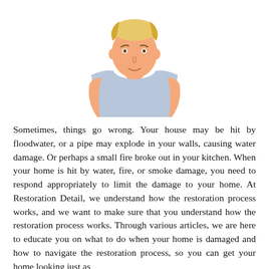[Figure (illustration): Cartoon illustration of a young blond man wearing a light blue sleeveless tank top, shown from the waist up, with a neutral/slight smile expression on a white background.]
Sometimes, things go wrong. Your house may be hit by floodwater, or a pipe may explode in your walls, causing water damage. Or perhaps a small fire broke out in your kitchen. When your home is hit by water, fire, or smoke damage, you need to respond appropriately to limit the damage to your home. At Restoration Detail, we understand how the restoration process works, and we want to make sure that you understand how the restoration process works. Through various articles, we are here to educate you on what to do when your home is damaged and how to navigate the restoration process, so you can get your home looking just as